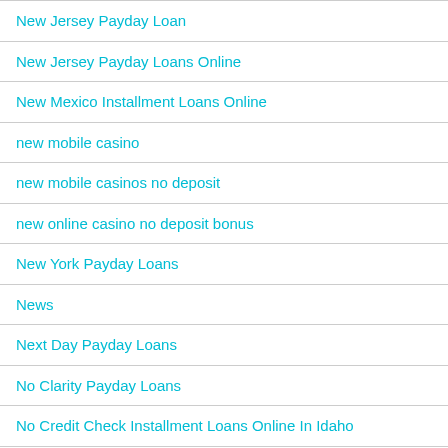New Jersey Payday Loan
New Jersey Payday Loans Online
New Mexico Installment Loans Online
new mobile casino
new mobile casinos no deposit
new online casino no deposit bonus
New York Payday Loans
News
Next Day Payday Loans
No Clarity Payday Loans
No Credit Check Installment Loans Online In Idaho
No Credit Check Installment Loans Online